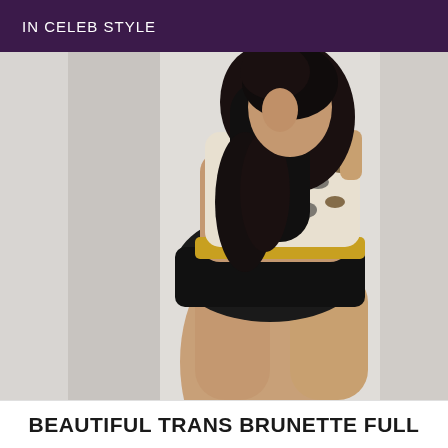IN CELEB STYLE
[Figure (photo): A person with long dark hair posing sideways, wearing a leopard-print top with a gold waist piece and black shorts, against a white wall with a red element in the top left corner.]
BEAUTIFUL TRANS BRUNETTE FULL